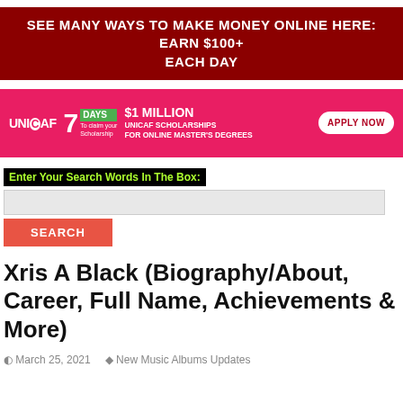[Figure (infographic): Dark red banner advertisement: SEE MANY WAYS TO MAKE MONEY ONLINE HERE: EARN $100+ EACH DAY]
[Figure (infographic): UNICAF scholarship advertisement banner: 7 DAYS To claim your Scholarship, $1 MILLION UNICAF SCHOLARSHIPS FOR ONLINE MASTER'S DEGREES, APPLY NOW button]
Enter Your Search Words In The Box:
SEARCH
Xris A Black (Biography/About, Career, Full Name, Achievements & More)
March 25, 2021   New Music Albums Updates